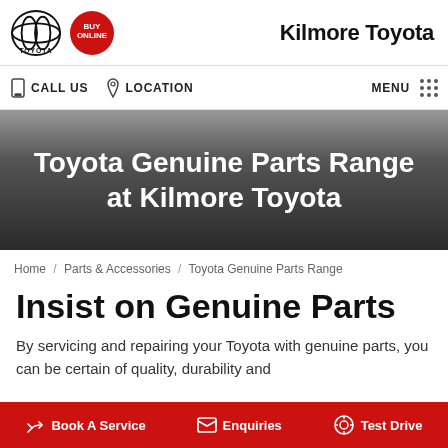Kilmore Toyota
[Figure (logo): Toyota logo and Buy Online badge]
CALL US   LOCATION   MENU
Toyota Genuine Parts Range at Kilmore Toyota
Home / Parts & Accessories / Toyota Genuine Parts Range
Insist on Genuine Parts
By servicing and repairing your Toyota with genuine parts, you can be certain of quality, durability and
Book A Service   Enquiries   Test Drive